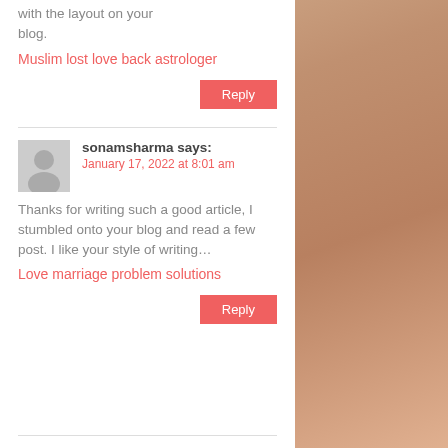with the layout on your blog.
Muslim lost love back astrologer
Reply
sonamsharma says:
January 17, 2022 at 8:01 am
Thanks for writing such a good article, I stumbled onto your blog and read a few post. I like your style of writing…
Love marriage problem solutions
Reply